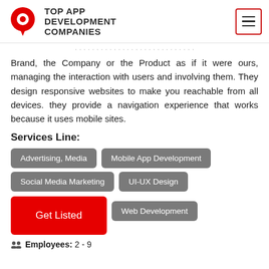TOP APP DEVELOPMENT COMPANIES
Brand, the Company or the Product as if it were ours, managing the interaction with users and involving them. They design responsive websites to make you reachable from all devices. they provide a navigation experience that works because it uses mobile sites.
Services Line:
Advertising, Media
Mobile App Development
Social Media Marketing
UI-UX Design
Web Development
Employees: 2 - 9